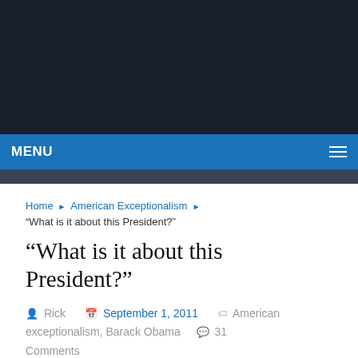MENU
Home ▶ American Exceptionalism ▶ "What is it about this President?"
"What is it about this President?"
Rick  September 1, 2011  American exceptionalism, Barack Obama  31 Comments
I've got the answer… but first… let's read the question in context as it was posed on Obama's flagship